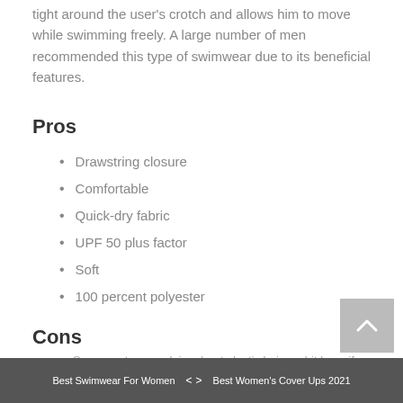tight around the user's crotch and allows him to move while swimming freely. A large number of men recommended this type of swimwear due to its beneficial features.
Pros
Drawstring closure
Comfortable
Quick-dry fabric
UPF 50 plus factor
Soft
100 percent polyester
Cons
Some customers claim about elastic being a bit lose, if
Best Swimwear For Women    <   >    Best Women's Cover Ups 2021